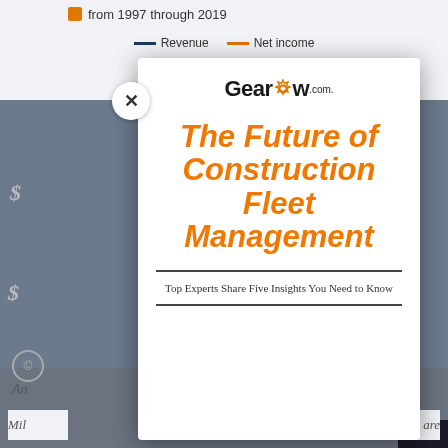from 1997 through 2019
— Revenue  — Net income
[Figure (screenshot): Modal dialog overlay showing a Gearflow.com book cover on top of a background financial chart page. The modal contains the Gearflow.com logo, a title 'The Future of Construction Fleet Management' in bold italic orange, and subtitle 'Top Experts Share Five Insights You Need to Know'. A close (X) button appears in the upper-left of the modal.]
The Future of Construction Fleet Management
Top Experts Share Five Insights You Need to Know